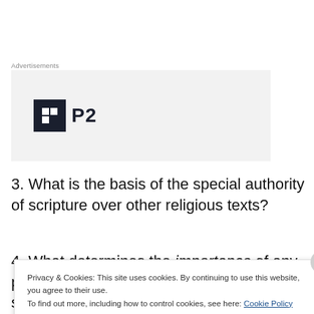Advertisements
[Figure (logo): P2 logo — dark square icon with grid pattern and bold text 'P2' on grey background]
3. What is the basis of the special authority of scripture over other religious texts?
4. What determines the importance of any particular idea, thought, or account in scripture?
Privacy & Cookies: This site uses cookies. By continuing to use this website, you agree to their use. To find out more, including how to control cookies, see here: Cookie Policy
Close and accept